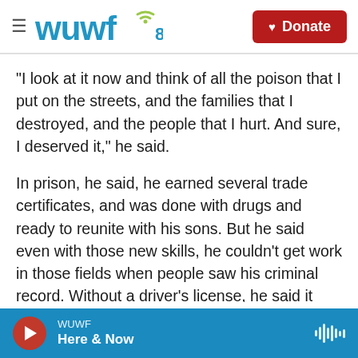WUWF 88.1 | Donate
"I look at it now and think of all the poison that I put on the streets, and the families that I destroyed, and the people that I hurt. And sure, I deserved it," he said.
In prison, he said, he earned several trade certificates, and was done with drugs and ready to reunite with his sons. But he said even with those new skills, he couldn't get work in those fields when people saw his criminal record. Without a driver's license, he said it didn't make sense to take a bus to a minimum-wage job. He stayed with a friend in the
WUWF | Here & Now